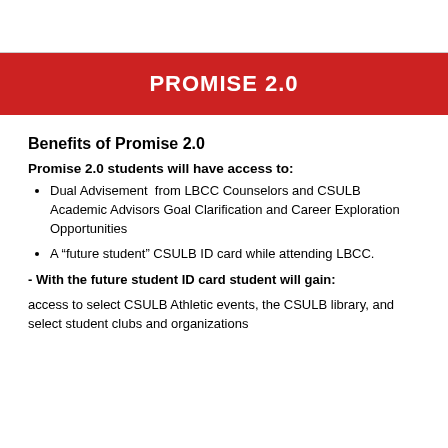PROMISE 2.0
Benefits of Promise 2.0
Promise 2.0 students will have access to:
Dual Advisement from LBCC Counselors and CSULB Academic Advisors Goal Clarification and Career Exploration Opportunities
A “future student” CSULB ID card while attending LBCC.
- With the future student ID card student will gain: access to select CSULB Athletic events, the CSULB library, and select student clubs and organizations